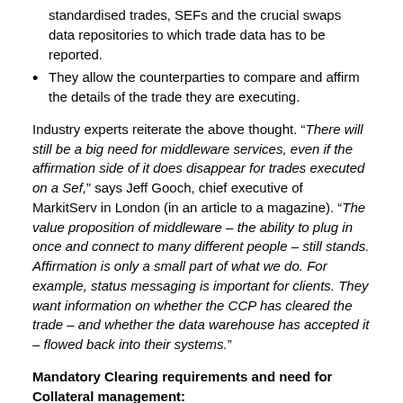standardised trades, SEFs and the crucial swaps data repositories to which trade data has to be reported.
They allow the counterparties to compare and affirm the details of the trade they are executing.
Industry experts reiterate the above thought. “There will still be a big need for middleware services, even if the affirmation side of it does disappear for trades executed on a Sef,” says Jeff Gooch, chief executive of MarkitServ in London (in an article to a magazine). “The value proposition of middleware – the ability to plug in once and connect to many different people – still stands. Affirmation is only a small part of what we do. For example, status messaging is important for clients. They want information on whether the CCP has cleared the trade – and whether the data warehouse has accepted it – flowed back into their systems.”
Mandatory Clearing requirements and need for Collateral management:
Mandatory clearing has added complexity to the OTC trade